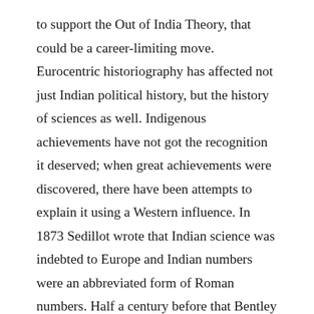to support the Out of India Theory, that could be a career-limiting move. Eurocentric historiography has affected not just Indian political history, but the history of sciences as well. Indigenous achievements have not got the recognition it deserved; when great achievements were discovered, there have been attempts to explain it using a Western influence. In 1873 Sedillot wrote that Indian science was indebted to Europe and Indian numbers were an abbreviated form of Roman numbers. Half a century before that Bentley rewrote the dates for various Indian mathematicians, pushing them to much later and blamed the Brahmins for fabricating false dates. Some of these historians were willing to acknowledge that there were some great mathematicians till the time of Bhaskara, but